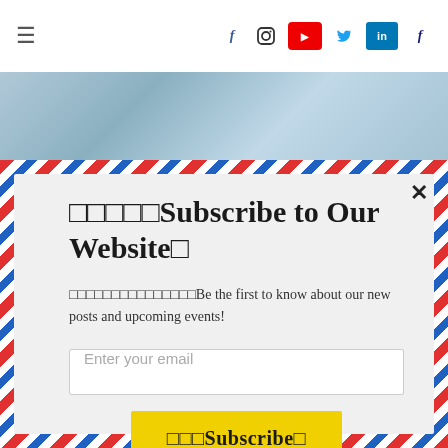☰  f  [instagram]  [youtube]  t  in  f
[Figure (photo): Background photo strip showing a blurred desk/workspace scene in blue-grey tones]
□□□□□Subscribe to Our Website□
□□□□□□□□□□□□□□□Be the first to know about our new posts and upcoming events!
Enter your email
□□□Subscribe□
powered by MailMunch